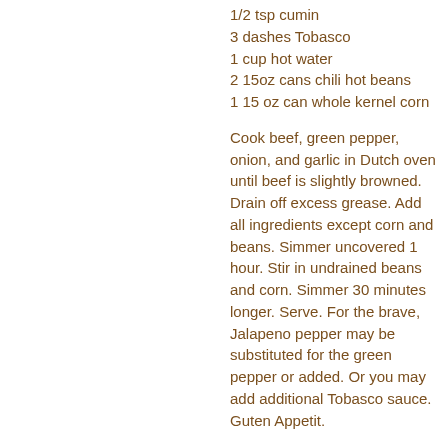1/2 tsp cumin
3 dashes Tobasco
1 cup hot water
2 15oz cans chili hot beans
1 15 oz can whole kernel corn
Cook beef, green pepper, onion, and garlic in Dutch oven until beef is slightly browned. Drain off excess grease. Add all ingredients except corn and beans. Simmer uncovered 1 hour. Stir in undrained beans and corn. Simmer 30 minutes longer. Serve. For the brave, Jalapeno pepper may be substituted for the green pepper or added. Or you may add additional Tobasco sauce. Guten Appetit.
ROAST PORK AND BLACK BEAN CHILI
1/4 cup bacon drippings
2 cloves garlic, minced
3 tbs chili powder 1/8 tsp cumin
4 LB pork loin with bone in